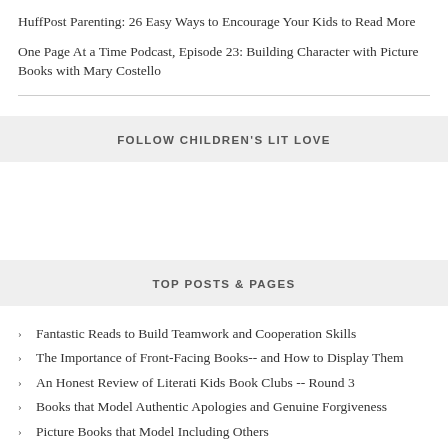HuffPost Parenting: 26 Easy Ways to Encourage Your Kids to Read More
One Page At a Time Podcast, Episode 23: Building Character with Picture Books with Mary Costello
FOLLOW CHILDREN'S LIT LOVE
TOP POSTS & PAGES
Fantastic Reads to Build Teamwork and Cooperation Skills
The Importance of Front-Facing Books-- and How to Display Them
An Honest Review of Literati Kids Book Clubs -- Round 3
Books that Model Authentic Apologies and Genuine Forgiveness
Picture Books that Model Including Others